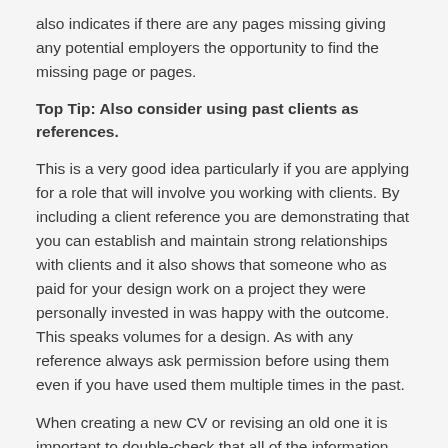also indicates if there are any pages missing giving any potential employers the opportunity to find the missing page or pages.
Top Tip: Also consider using past clients as references.
This is a very good idea particularly if you are applying for a role that will involve you working with clients. By including a client reference you are demonstrating that you can establish and maintain strong relationships with clients and it also shows that someone who as paid for your design work on a project they were personally invested in was happy with the outcome. This speaks volumes for a design. As with any reference always ask permission before using them even if you have used them multiple times in the past.
When creating a new CV or revising an old one it is important to double-check that all of the information